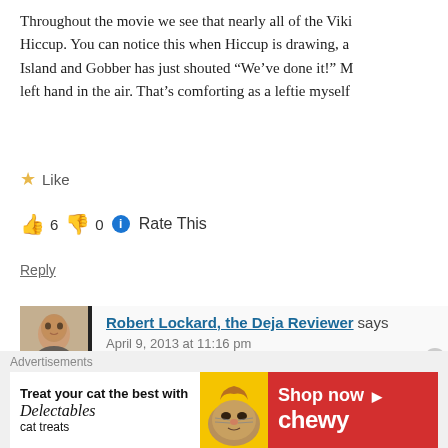Throughout the movie we see that nearly all of the Viki... Hiccup. You can notice this when Hiccup is drawing, a... Island and Gobber has just shouted “We’ve done it!” M... left hand in the air. That’s comforting as a leftie myself
★ Like
👍 6 👎 0 ℹ Rate This
Reply
Robert Lockard, the Deja Reviewer says:
April 9, 2013 at 11:16 pm
I never noticed that! I’m a rightie, so mayb... how we can watch this movie a hundre...
[Figure (photo): Avatar photo of Robert Lockard, the Deja Reviewer — a smiling man]
[Figure (infographic): Chewy advertisement banner: Treat your cat the best with Delectables cat treats. Shop now. Chewy logo. Cat photo and yellow/red design.]